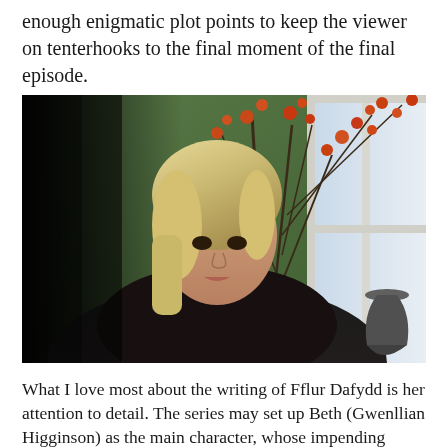enough enigmatic plot points to keep the viewer on tenterhooks to the final moment of the final episode.
[Figure (photo): A blonde woman in a black off-the-shoulder top gazes to the side pensively, with a green wall, decorative branches with orange berries, and a white-framed window visible in the background.]
What I love most about the writing of Fflur Dafydd is her attention to detail. The series may set up Beth (Gwenllian Higginson) as the main character, whose impending marriage to Dylan (Geraint Todd) provides the focal point, but the